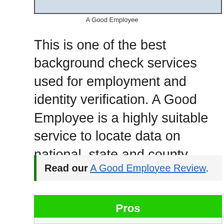[Figure (photo): Partial photo of a person, cropped at top of page]
A Good Employee
This is one of the best background check services used for employment and identity verification. A Good Employee is a highly suitable service to locate data on national, state and county categories.
Read our A Good Employee Review.
Pros